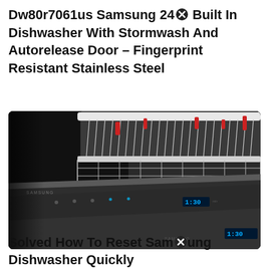Dw80r7061us Samsung 24 Built In Dishwasher With Stormwash And Autorelease Door – Fingerprint Resistant Stainless Steel
[Figure (photo): Close-up photo of a Samsung dishwasher with Stormwash, showing the top rack loaded with items, the door panel open with control buttons and a blue digital display showing 1:30, dark stainless steel finish.]
Solved How To Reset Samsung Dishwasher Quickly